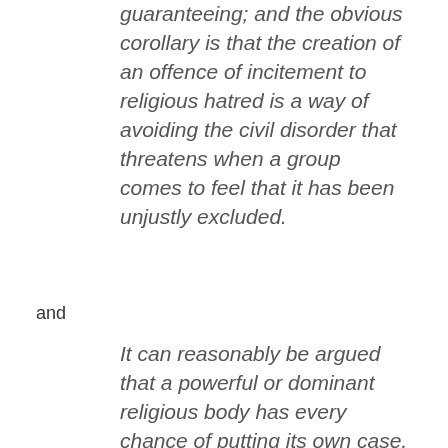guaranteeing; and the obvious corollary is that the creation of an offence of incitement to religious hatred is a way of avoiding the civil disorder that threatens when a group comes to feel that it has been unjustly excluded.
and
It can reasonably be argued that a powerful or dominant religious body has every chance of putting its own case, and that one might